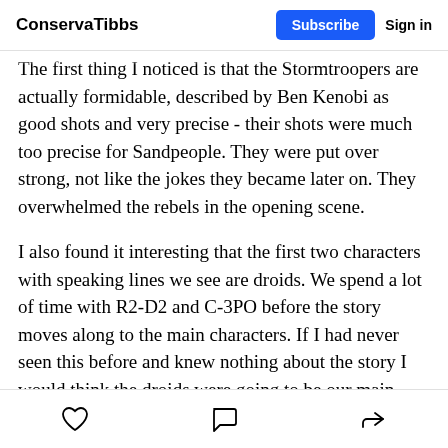ConservaTibbs | Subscribe | Sign in
The first thing I noticed is that the Stormtroopers are actually formidable, described by Ben Kenobi as good shots and very precise - their shots were much too precise for Sandpeople. They were put over strong, not like the jokes they became later on. They overwhelmed the rebels in the opening scene.
I also found it interesting that the first two characters with speaking lines we see are droids. We spend a lot of time with R2-D2 and C-3PO before the story moves along to the main characters. If I had never seen this before and knew nothing about the story I would think the droids were going to be our main characters.
Like | Comment | Share